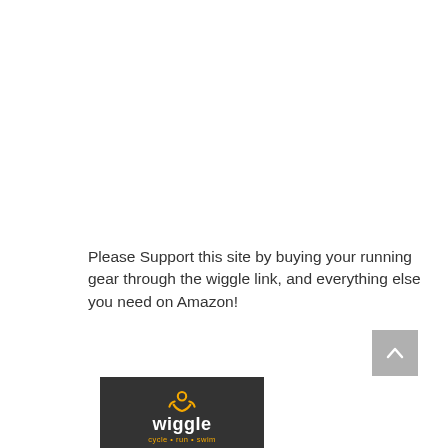Please Support this site by buying your running gear through the wiggle link, and everything else you need on Amazon!
[Figure (logo): Wiggle logo: dark background with orange smiley icon, white text 'wiggle', orange tagline 'cycle · run · swim']
[Figure (other): Gray scroll-to-top button with upward chevron arrow]